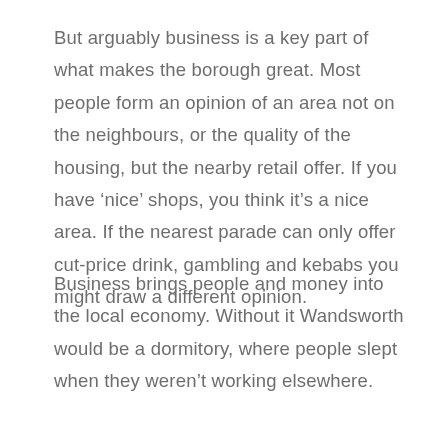But arguably business is a key part of what makes the borough great. Most people form an opinion of an area not on the neighbours, or the quality of the housing, but the nearby retail offer. If you have ‘nice’ shops, you think it’s a nice area. If the nearest parade can only offer cut-price drink, gambling and kebabs you might draw a different opinion.
Business brings people and money into the local economy. Without it Wandsworth would be a dormitory, where people slept when they weren’t working elsewhere.